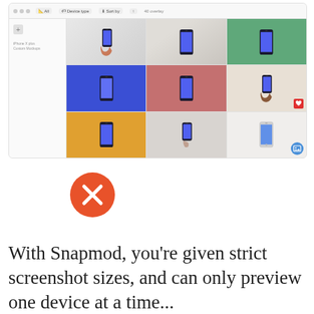[Figure (screenshot): Screenshot of a mockup gallery application showing a 3x3 grid of smartphone mockups in various colors and poses: white background with hand holding phone, green background with phone, blue background with phone, pink/rose background with phone, beige background with hand holding phone, yellow/orange background with phone, gray background with phone, white/beige background with silver phone. Left sidebar shows a plus button and some label text. Interface has nav bar at top.]
[Figure (illustration): Orange circle with white X mark indicating a negative/prohibited feature]
With Snapmod, you’re given strict screenshot sizes, and can only preview one device at a time...